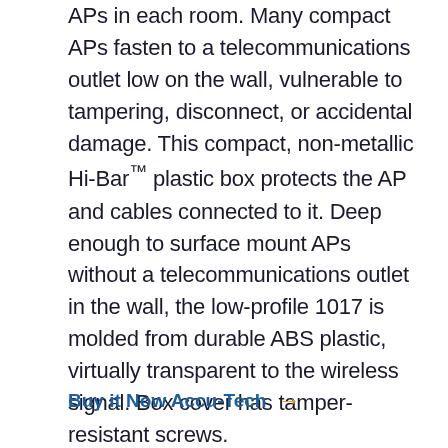APs in each room. Many compact APs fasten to a telecommunications outlet low on the wall, vulnerable to tampering, disconnect, or accidental damage. This compact, non-metallic Hi-Bar™ plastic box protects the AP and cables connected to it. Deep enough to surface mount APs without a telecommunications outlet in the wall, the low-profile 1017 is molded from durable ABS plastic, virtually transparent to the wireless signal. Box cover has tamper-resistant screws.
Buy it Now Accu-Tech →